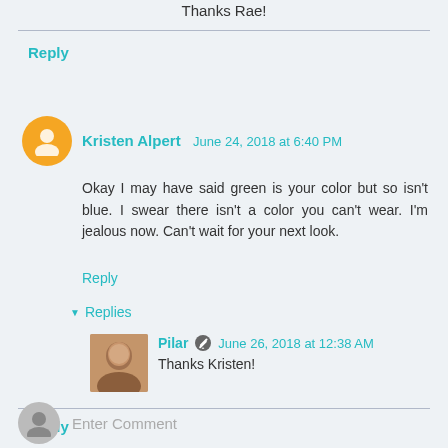Thanks Rae!
Reply
Kristen Alpert  June 24, 2018 at 6:40 PM
Okay I may have said green is your color but so isn't blue. I swear there isn't a color you can't wear. I'm jealous now. Can't wait for your next look.
Reply
Replies
Pilar  June 26, 2018 at 12:38 AM
Thanks Kristen!
Reply
Enter Comment